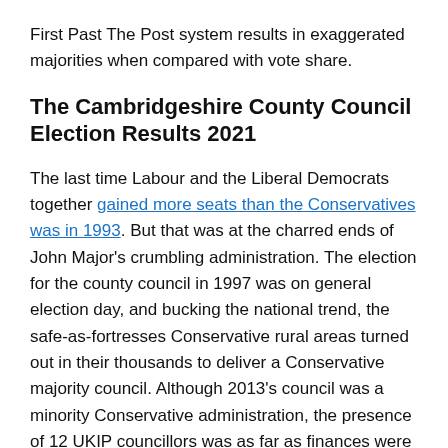First Past The Post system results in exaggerated majorities when compared with vote share.
The Cambridgeshire County Council Election Results 2021
The last time Labour and the Liberal Democrats together gained more seats than the Conservatives was in 1993. But that was at the charred ends of John Major's crumbling administration. The election for the county council in 1997 was on general election day, and bucking the national trend, the safe-as-fortresses Conservative rural areas turned out in their thousands to deliver a Conservative majority council. Although 2013's council was a minority Conservative administration, the presence of 12 UKIP councillors was as far as finances were concerned an extension of the Conservatives –